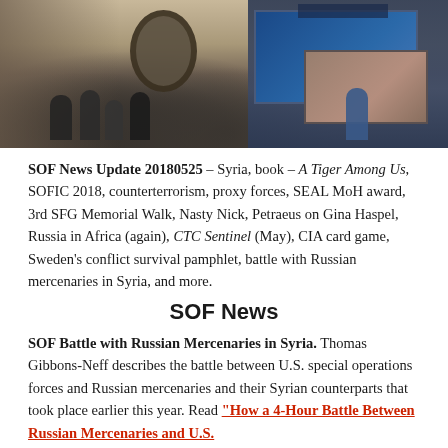[Figure (photo): Aerial/overhead view of an exhibition hall with people gathered around military equipment displays and large screens showing terrain imagery, likely SOFIC 2018 defense exhibition.]
SOF News Update 20180525 – Syria, book – A Tiger Among Us, SOFIC 2018, counterterrorism, proxy forces, SEAL MoH award, 3rd SFG Memorial Walk, Nasty Nick, Petraeus on Gina Haspel, Russia in Africa (again), CTC Sentinel (May), CIA card game, Sweden's conflict survival pamphlet, battle with Russian mercenaries in Syria, and more.
SOF News
SOF Battle with Russian Mercenaries in Syria. Thomas Gibbons-Neff describes the battle between U.S. special operations forces and Russian mercenaries and their Syrian counterparts that took place earlier this year. Read "How a 4-Hour Battle Between Russian Mercenaries and U.S.